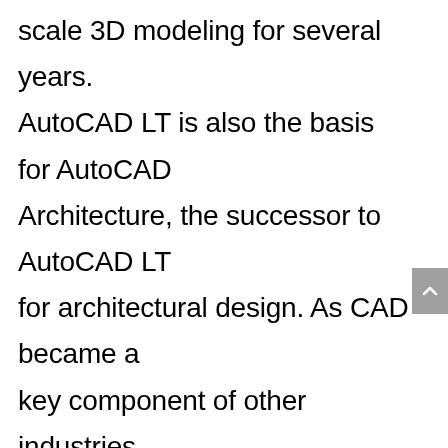scale 3D modeling for several years. AutoCAD LT is also the basis for AutoCAD Architecture, the successor to AutoCAD LT for architectural design. As CAD became a key component of other industries, AutoCAD LT was enhanced to support various new features, including 3D features, such as structural analysis, parametric modeling, and other features. Thus AutoCAD LT is the predecessor to all versions of AutoCAD since AutoCAD 2000. It has been successfully ported to other platforms such as UNIX, Windows, macOS, and Linux, with limited support for